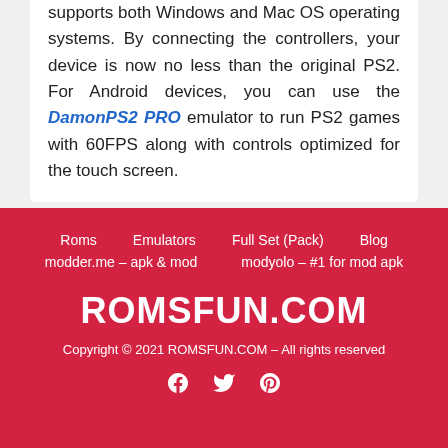supports both Windows and Mac OS operating systems. By connecting the controllers, your device is now no less than the original PS2. For Android devices, you can use the DamonPS2 PRO emulator to run PS2 games with 60FPS along with controls optimized for the touch screen.
Roms   Emulators   Full Set (Pack)   Blog
modder.me – apk & mod   modyolo – #1 for mod apk
ROMSFUN.COM
Copyright © 2021 ROMSFUN.COM – All rights reserved